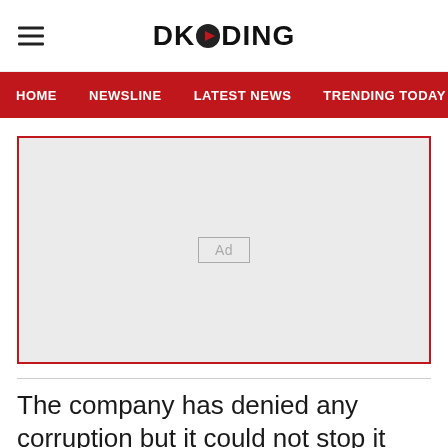DKODING
HOME  NEWSLINE  LATEST NEWS  TRENDING TODAY  ENT
[Figure (other): Advertisement placeholder box with 'Ad' label in center, light grey background with red border]
The company has denied any corruption but it could not stop it from falling 7.47 per cent in early trade.